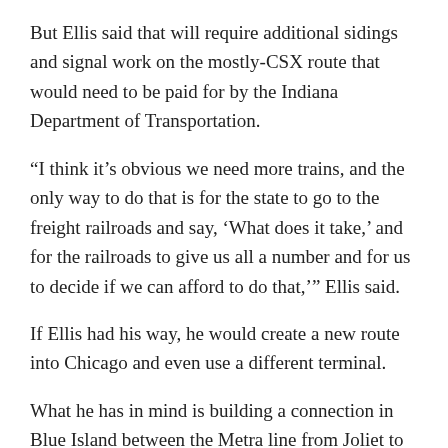But Ellis said that will require additional sidings and signal work on the mostly-CSX route that would need to be paid for by the Indiana Department of Transportation.
“I think it’s obvious we need more trains, and the only way to do that is for the state to go to the freight railroads and say, ‘What does it take,’ and for the railroads to give us all a number and for us to decide if we can afford to do that,’” Ellis said.
If Ellis had his way, he would create a new route into Chicago and even use a different terminal.
What he has in mind is building a connection in Blue Island between the Metra line from Joliet to the La Salle Street Station and the former Grand Trunk Western mainline that CSX now operates.